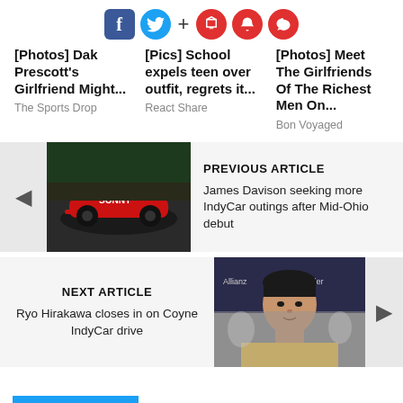[Figure (other): Social sharing icons: Facebook, Twitter, plus sign, and three red circular icons (bookmark, notification, comment)]
[Photos] Dak Prescott's Girlfriend Might...
The Sports Drop
[Pics] School expels teen over outfit, regrets it...
React Share
[Photos] Meet The Girlfriends Of The Richest Men On...
Bon Voyaged
[Figure (photo): Racing car with SONNY branding on track]
PREVIOUS ARTICLE
James Davison seeking more IndyCar outings after Mid-Ohio debut
[Figure (photo): Young Asian male racing driver portrait]
NEXT ARTICLE
Ryo Hirakawa closes in on Coyne IndyCar drive